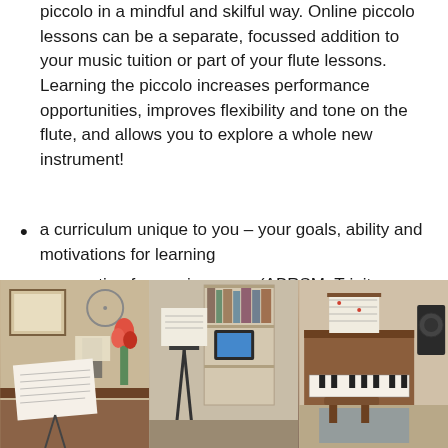piccolo in a mindful and skilful way. Online piccolo lessons can be a separate, focussed addition to your music tuition or part of your flute lessons. Learning the piccolo increases performance opportunities, improves flexibility and tone on the flute, and allows you to explore a whole new instrument!
a curriculum unique to you – your goals, ability and motivations for learning
preparation for music exams (ABRSM, Trinity or school), auditions, courses, ensembles and competitions
[Figure (photo): Music room with sheet music on a stand, a framed picture on the wall, a clock, and a wooden desk]
[Figure (photo): Music studio with a music stand, bookshelf with books and a tablet, and various musical equipment]
[Figure (photo): Piano with sheet music on a stand, a stool, and a speaker in a room]